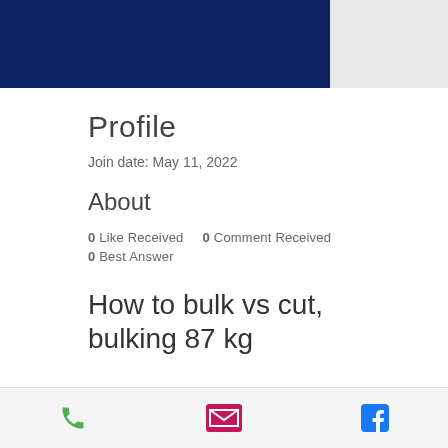[Figure (other): Dark navy blue header banner on left, gray rectangle on right]
Profile
Join date: May 11, 2022
About
0 Like Received   0 Comment Received
0 Best Answer
How to bulk vs cut, bulking 87 kg
[Figure (other): Bottom navigation bar with phone, email, and Facebook icons]